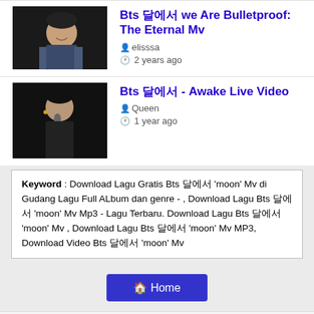[Figure (photo): Thumbnail of a person smiling, dark background, checkered shirt]
Bts 달에서 we Are Bulletproof: The Eternal Mv
elisssa
2 years ago
[Figure (photo): Thumbnail of a person singing into a microphone, dark background]
Bts 달에서 - Awake Live Video
Queen
1 year ago
Keyword : Download Lagu Gratis Bts 달에서 'moon' Mv di Gudang Lagu Full ALbum dan genre - , Download Lagu Bts 달에서 'moon' Mv Mp3 - Lagu Terbaru. Download Lagu Bts 달에서 'moon' Mv , Download Lagu Bts 달에서 'moon' Mv MP3, Download Video Bts 달에서 'moon' Mv
Home
Download Lagu Mp3 Terbaik 2022, Gudang Lagu Terbaru Gratis
Download Lagu Mp3 Terbaru 2022, Gudang Lagu Terbaik Gratis. Situs Download Lagu Gratis, Gudang lagu Mp3 Indonesia, lagu